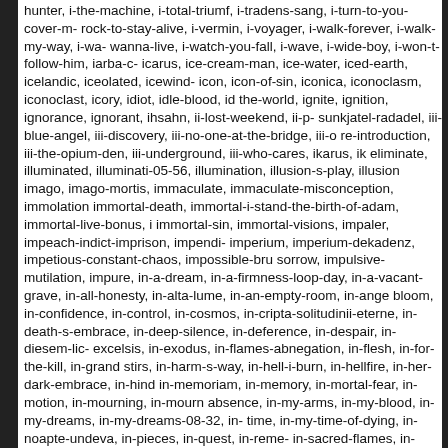hunter, i-the-machine, i-total-triumf, i-tradens-sang, i-turn-to-you-cover-me rock-to-stay-alive, i-vermin, i-voyager, i-walk-forever, i-walk-my-way, i-wa- wanna-live, i-watch-you-fall, i-wave, i-wide-boy, i-won-t-follow-him, iarba-c- icarus, ice-cream-man, ice-water, iced-earth, icelandic, iceolated, icewind- icon, icon-of-sin, iconica, iconoclasm, iconoclast, icory, idiot, idle-blood, id the-world, ignite, ignition, ignorance, ignorant, ihsahn, ii-lost-weekend, ii-p- sunkjatel-radadel, iii-blue-angel, iii-discovery, iii-no-one-at-the-bridge, iii-o re-introduction, iii-the-opium-den, iii-underground, iii-who-cares, ikarus, ik eliminate, illuminated, illuminati-05-56, illumination, illusion-s-play, illusion imago, imago-mortis, immaculate, immaculate-misconception, immolation immortal-death, immortal-i-stand-the-birth-of-adam, immortal-live-bonus, i immortal-sin, immortal-visions, impaler, impeach-indict-imprison, impendi- imperium, imperium-dekadenz, impetious-constant-chaos, impossible-bru sorrow, impulsive-mutilation, impure, in-a-dream, in-a-firmness-loop-day, in-a-vacant-grave, in-all-honesty, in-alta-lume, in-an-empty-room, in-ange bloom, in-confidence, in-control, in-cosmos, in-cripta-solitudinii-eterne, in- death-s-embrace, in-deep-silence, in-deference, in-despair, in-diesem-lic- excelsis, in-exodus, in-flames-abnegation, in-flesh, in-for-the-kill, in-grand stirs, in-harm-s-way, in-hell-i-burn, in-hellfire, in-her-dark-embrace, in-hind in-memoriam, in-memory, in-mortal-fear, in-motion, in-mourning, in-mourn absence, in-my-arms, in-my-blood, in-my-dreams, in-my-dreams-08-32, in- time, in-my-time-of-dying, in-noapte-undeva, in-pieces, in-quest, in-reme- in-sacred-flames, in-search-for-i, in-search-of-light, in-secrecy, in-shadow decayed, in-sickness, in-sight, in-slumber, in-soare-deschis, in-sorrow, in- in-the-arms-of-god, in-the-arms-of-perdition, in-the-black, in-the-blood, in- constellation-of-the-black-widow, in-the-court-of-jarisleif, in-the-court-of-th darkness, in-the-deep-forest, in-the-end-of-life, in-the-eyes, in-the-flesh, i- in-the-light-of-darkness, in-the-meantime, in-the-midnight-hour, in-the-mo- eden, in-the-nothingness-black, in-the-picture, in-the-presence-of-enemie- pt-2, in-the-presence-of-my-enemies, in-the-present, in-the-shadow-of-the- grave, in-the-storm, in-the-summertime, in-the-thrall-of-it-all, in-the-trench- wake-of-the-weary, in-the-white, in-the-woods, in-the-year-of-the-wolf, in-t